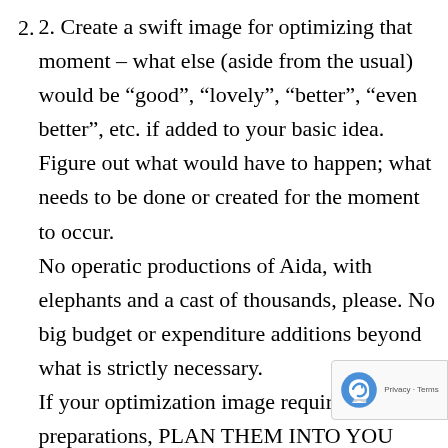2. Create a swift image for optimizing that moment – what else (aside from the usual) would be “good”, “lovely”, “better”, “even better”, etc. if added to your basic idea.
Figure out what would have to happen; what needs to be done or created for the moment to occur.
No operatic productions of Aida, with elephants and a cast of thousands, please. No big budget or expenditure additions beyond what is strictly necessary.
If your optimization image requires preparations, PLAN THEM INTO YOU